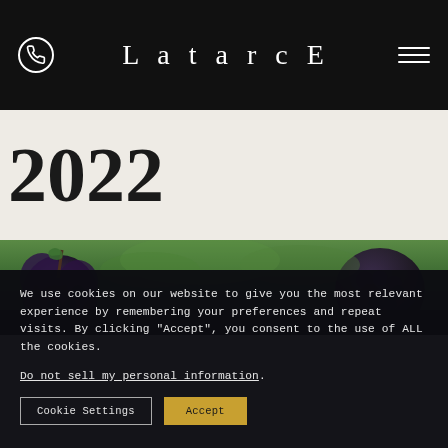LatarcE
2022
[Figure (photo): Close-up photograph of dark blue/purple wine grapes (likely Cabernet Sauvignon or similar) on a vine with green leaves in the background]
We use cookies on our website to give you the most relevant experience by remembering your preferences and repeat visits. By clicking "Accept", you consent to the use of ALL the cookies.
Do not sell my personal information.
Cookie Settings   Accept